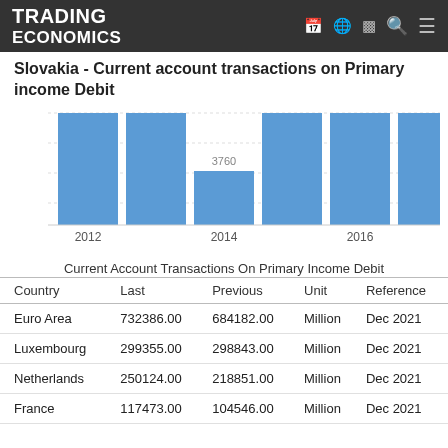TRADING ECONOMICS
Slovakia - Current account transactions on Primary income Debit
[Figure (bar-chart): Slovakia - Current account transactions on Primary income Debit]
Current Account Transactions On Primary Income Debit
| Country | Last | Previous | Unit | Reference |
| --- | --- | --- | --- | --- |
| Euro Area | 732386.00 | 684182.00 | Million | Dec 2021 |
| Luxembourg | 299355.00 | 298843.00 | Million | Dec 2021 |
| Netherlands | 250124.00 | 218851.00 | Million | Dec 2021 |
| France | 117473.00 | 104546.00 | Million | Dec 2021 |